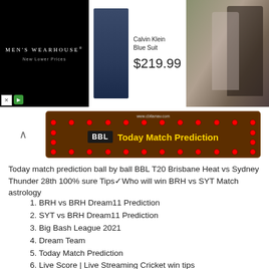[Figure (screenshot): Men's Wearhouse advertisement banner showing Calvin Klein Blue Suit for $219.99 with a model in a blue suit on the left and a couple in formal wear on the right]
[Figure (screenshot): BBL Today Match Prediction banner with red dots border and gold text on brown background, showing www.cbitamav.com URL]
Today match prediction ball by ball BBL T20 Brisbane Heat vs Sydney Thunder 28th 100% sure Tips✓Who will win BRH vs SYT Match astrology
BRH vs BRH Dream11 Prediction
SYT vs BRH Dream11 Prediction
Big Bash League 2021
Dream Team
Today Match Prediction
Live Score | Live Streaming Cricket win tips